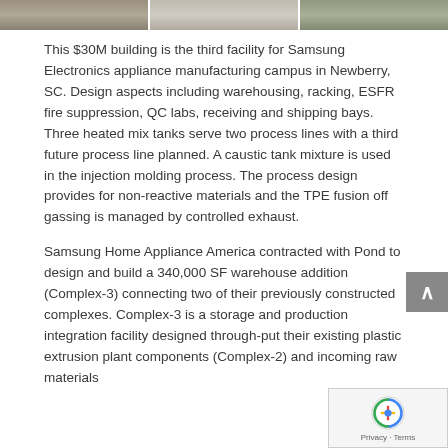[Figure (photo): Three-panel image strip showing facility/campus photographs at the top of the page]
This $30M building is the third facility for Samsung Electronics appliance manufacturing campus in Newberry, SC. Design aspects including warehousing, racking, ESFR fire suppression, QC labs, receiving and shipping bays. Three heated mix tanks serve two process lines with a third future process line planned. A caustic tank mixture is used in the injection molding process. The process design provides for non-reactive materials and the TPE fusion off gassing is managed by controlled exhaust.
Samsung Home Appliance America contracted with Pond to design and build a 340,000 SF warehouse addition (Complex-3) connecting two of their previously constructed complexes. Complex-3 is a storage and production integration facility designed through-put their existing plastic extrusion plant components (Complex-2) and incoming raw materials